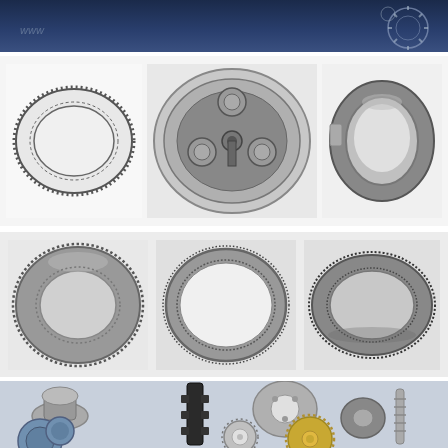[Figure (photo): Dark navy blue header banner with gear/sprocket imagery on the right side, product catalog style header]
[Figure (photo): Three ring gears / internal gears arranged in a row on white/light grey background: (1) thin flat internal ring gear with fine teeth, (2) planetary gear set inside a housing showing ring gear, planet gears and sun gear, (3) thick ring gear with polished bore]
[Figure (photo): Three internal ring gears arranged in a row on grey background: (1) wide barrel-shaped internal gear, (2) thin ring gear with very fine teeth, (3) elliptical/oval ring gear with fine teeth]
[Figure (photo): Collection of various gear types on blue-grey background: bevel gear/pinion, rack and pinion style part, disc/plate gear, worm gear with shaft, blue/teal chain sprocket cluster at bottom left, small circular gear, gold/brass spur gear, worm screw shaft]